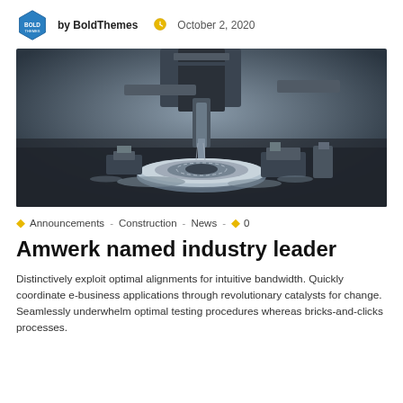by BoldThemes  October 2, 2020
[Figure (photo): Close-up photo of a CNC milling machine cutting a circular metal part, with metal shavings visible, in blue-grey tones.]
Announcements - Construction - News  0
Amwerk named industry leader
Distinctively exploit optimal alignments for intuitive bandwidth. Quickly coordinate e-business applications through revolutionary catalysts for change. Seamlessly underwhelm optimal testing procedures whereas bricks-and-clicks processes.